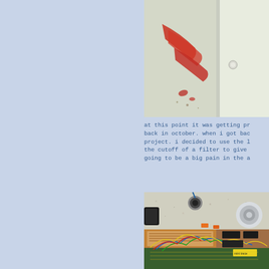[Figure (photo): Close-up photo of an enclosure or panel showing red paint marks/splashes on a light-colored surface, with a small white knob or button visible, and a dark rectangular element (possibly a display or battery) in the upper right corner.]
at this point it was getting pr back in october. when i got bac project. i decided to use the l the cutoff of a filter to give going to be a big pain in the a
[Figure (photo): Photo of an electronics workbench showing circuit boards (breadboard and PCB), numerous wires in various colors, electronic components, and what appears to be a spool of solder wire, all on a light-colored surface.]